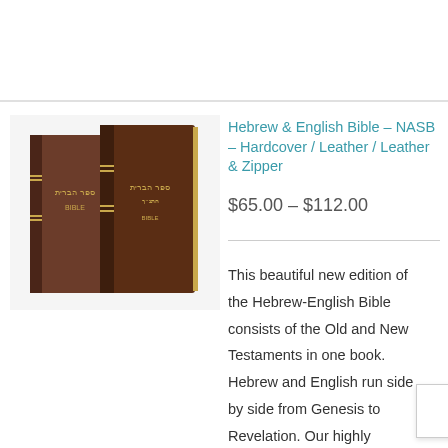[Figure (photo): Two dark brown leather-bound Hebrew-English Bible books side by side, with gold Hebrew text on the spine]
Hebrew & English Bible – NASB – Hardcover / Leather / Leather & Zipper
$65.00 – $112.00
This beautiful new edition of the Hebrew-English Bible consists of the Old and New Testaments in one book. Hebrew and English run side by side from Genesis to Revelation. Our highly demanded & English in three
Privacy & Cookies Policy